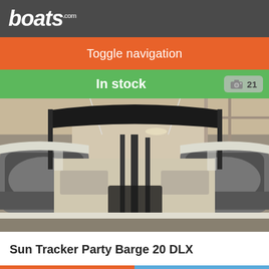boats.com
Toggle navigation
In stock   📷 21
[Figure (photo): Interior view of a Sun Tracker pontoon boat (Party Barge 20 DLX) stored indoors, showing the deck, bimini top, and pontoon tubes from the rear]
Sun Tracker Party Barge 20 DLX
Ordina Per
Filtra Ricerca